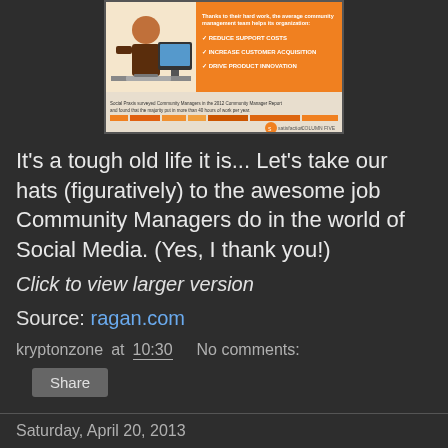[Figure (infographic): Infographic about Community Managers with illustration of person at computer on left and orange panel with checkmarks (Reduce Support Costs, Increase Customer Acquisition, Drive Product Innovation) on right, with bar chart data below]
It's a tough old life it is... Let's take our hats (figuratively) to the awesome job Community Managers do in the world of Social Media. (Yes, I thank you!)
Click to view larger version
Source: ragan.com
kryptonzone at 10:30    No comments:
Share
Saturday, April 20, 2013
Fire rainbow in Paris (amazing photo)